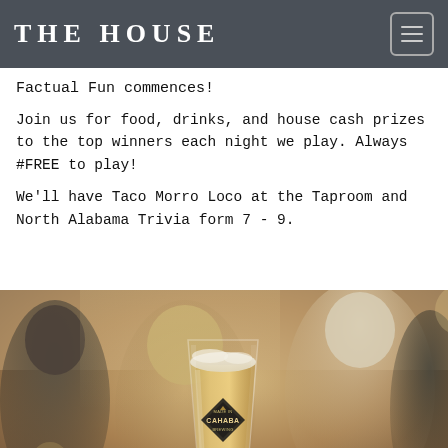THE HOUSE
Factual Fun commences!
Join us for food, drinks, and house cash prizes to the top winners each night we play. Always #FREE to play!
We'll have Taco Morro Loco at the Taproom and North Alabama Trivia form 7 - 9.
[Figure (photo): Photo of people socializing at a brewery taproom with a Cahaba Brewing beer glass in the foreground on the table.]